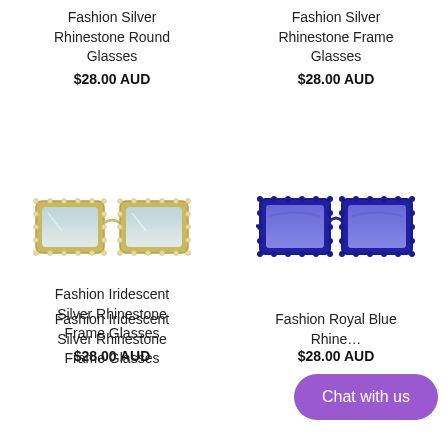Fashion Silver Rhinestone Round Glasses
$28.00 AUD
Fashion Silver Rhinestone Frame Glasses
$28.00 AUD
[Figure (photo): Fashion Iridescent Silver Rhinestone Frame Glasses – oversized square sunglasses with rhinestone/pearl border and light blue gradient lenses]
[Figure (photo): Fashion Royal Blue Rhinestone Frame Glasses – oversized square sunglasses with royal blue rhinestone border and solid blue lenses]
Fashion Iridescent Silver Rhinestone Frame Glasses
$28.00 AUD
Fashion Royal Blue Rhinestone Frame Glasses
$28.00 AUD